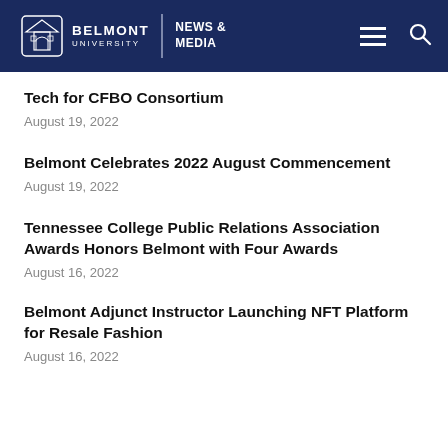Belmont University News & Media
Tech for CFBO Consortium
August 19, 2022
Belmont Celebrates 2022 August Commencement
August 19, 2022
Tennessee College Public Relations Association Awards Honors Belmont with Four Awards
August 16, 2022
Belmont Adjunct Instructor Launching NFT Platform for Resale Fashion
August 16, 2022